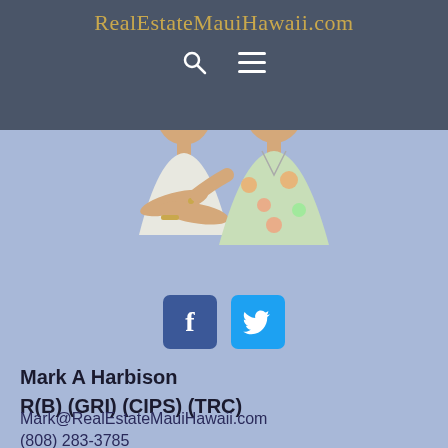RealEstateMauiHawaii.com
[Figure (photo): Photo of a couple (man and woman) standing together, woman in white top with arms crossed, man in floral Hawaiian shirt]
[Figure (infographic): Facebook and Twitter social media icon buttons]
Mark A Harbison
R(B) (GRI) (CIPS) (TRC)
Mark@RealEstateMauiHawaii.com
(808) 283-3785